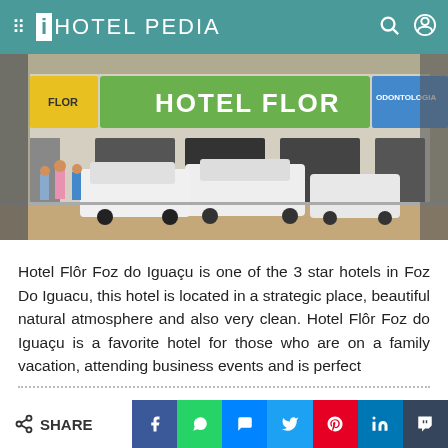iHOTEL PEDIA
[Figure (photo): Street-level photo of Hotel Flor in Foz do Iguaçu, Brazil. A large green sign reading 'HOTEL FLOR' is visible on the building facade, with a yellow sign on the left and a dentist/healthcare sign on the right. White cars are parked on the street in front, and pedestrians are walking on the sidewalk.]
Hotel Flôr Foz do Iguaçu is one of the 3 star hotels in Foz Do Iguacu, this hotel is located in a strategic place, beautiful natural atmosphere and also very clean. Hotel Flôr Foz do Iguaçu is a favorite hotel for those who are on a family vacation, attending business events and is perfect
SHARE